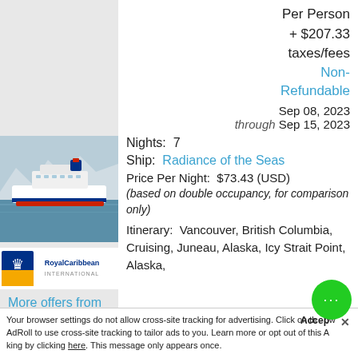Per Person
+ $207.33
taxes/fees
Non-Refundable
Sep 08, 2023 through Sep 15, 2023
[Figure (photo): Cruise ship in Alaskan waters with glaciers and mountains in background]
[Figure (logo): Royal Caribbean International logo]
Nights: 7
Ship: Radiance of the Seas
Price Per Night: $73.43 (USD) (based on double occupancy, for comparison only)
Itinerary: Vancouver, British Columbia, Cruising, Juneau, Alaska, Icy Strait Point, Alaska,
More offers from Royal Caribbean International
Your browser settings do not allow cross-site tracking for advertising. Click on the allow AdRoll to use cross-site tracking to tailor ads to you. Learn more or opt out of this AdRoll tracking by clicking here. This message only appears once.